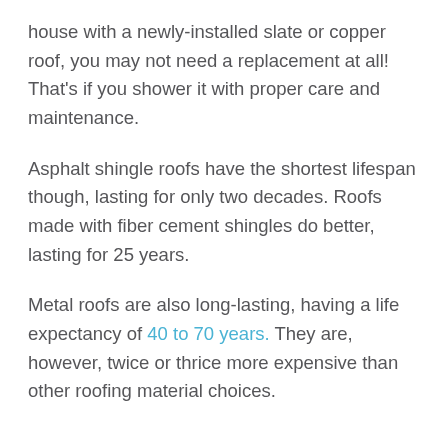house with a newly-installed slate or copper roof, you may not need a replacement at all! That's if you shower it with proper care and maintenance.
Asphalt shingle roofs have the shortest lifespan though, lasting for only two decades. Roofs made with fiber cement shingles do better, lasting for 25 years.
Metal roofs are also long-lasting, having a life expectancy of 40 to 70 years. They are, however, twice or thrice more expensive than other roofing material choices.
When Age Doesn't Matter